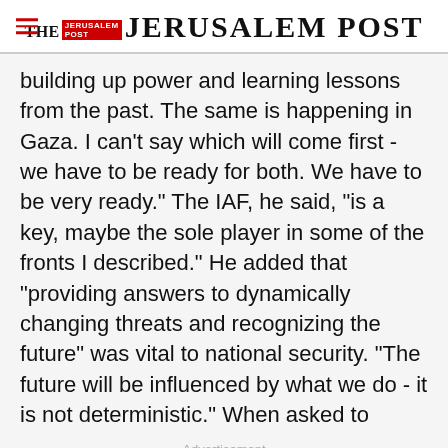THE JERUSALEM POST
building up power and learning lessons from the past. The same is happening in Gaza. I can't say which will come first - we have to be ready for both. We have to be very ready." The IAF, he said, "is a key, maybe the sole player in some of the fronts I described." He added that "providing answers to dynamically changing threats and recognizing the future" was vital to national security. "The future will be influenced by what we do - it is not deterministic." When asked to
Advertisement